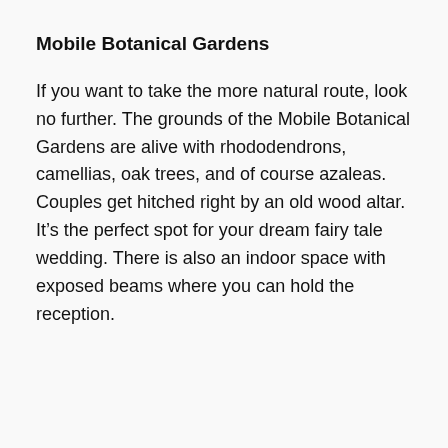Mobile Botanical Gardens
If you want to take the more natural route, look no further. The grounds of the Mobile Botanical Gardens are alive with rhododendrons, camellias, oak trees, and of course azaleas. Couples get hitched right by an old wood altar. It’s the perfect spot for your dream fairy tale wedding. There is also an indoor space with exposed beams where you can hold the reception.